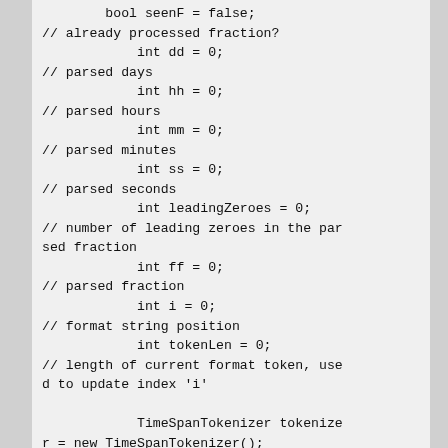bool seenF = false;
// already processed fraction?
            int dd = 0;
// parsed days
            int hh = 0;
// parsed hours
            int mm = 0;
// parsed minutes
            int ss = 0;
// parsed seconds
            int leadingZeroes = 0;
// number of leading zeroes in the parsed fraction
            int ff = 0;
// parsed fraction
            int i = 0;
// format string position
            int tokenLen = 0;
// length of current format token, used to update index 'i'

            TimeSpanTokenizer tokenizer = new TimeSpanTokenizer();
            tokenizer.Init(input, -1);